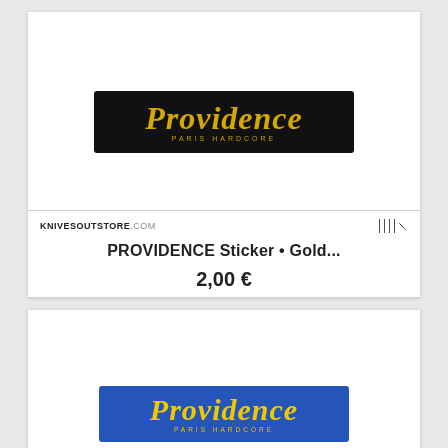[Figure (photo): Providence Paris Hardcore sticker on black background with gold text]
KNIVESOUTSTORE.COM
PROVIDENCE Sticker • Gold...
2,00 €
[Figure (photo): Providence Paris Hardcore sticker on blue background with yellow text]